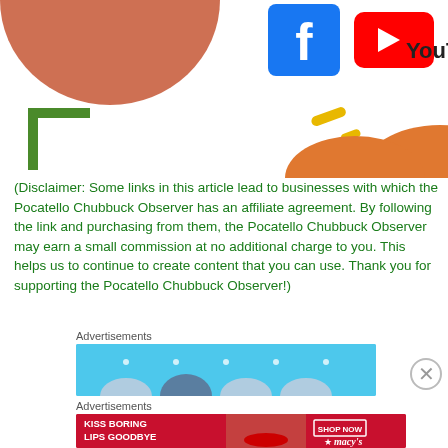[Figure (illustration): Top portion of a webpage showing a decorative illustration with an orange/terracotta semicircle at top left, a green L-shaped bracket, yellow dashes, an orange semicircle, plus Facebook and YouTube social media icons/logos on the right side.]
(Disclaimer: Some links in this article lead to businesses with which the Pocatello Chubbuck Observer has an affiliate agreement. By following the link and purchasing from them, the Pocatello Chubbuck Observer may earn a small commission at no additional charge to you. This helps us to continue to create content that you can use. Thank you for supporting the Pocatello Chubbuck Observer!)
Advertisements
[Figure (screenshot): Light blue advertisement banner with small white dots and circular avatar shapes at the bottom.]
Advertisements
[Figure (screenshot): Macy's advertisement banner with red background showing a woman's face with red lipstick. Text reads 'KISS BORING LIPS GOODBYE' with 'SHOP NOW' button and Macy's star logo.]